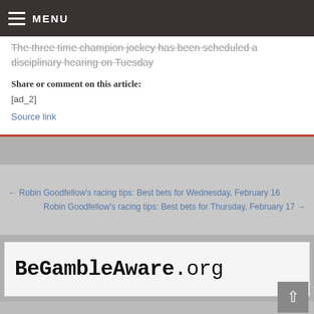MENU
The three time champion jockey has been scheduled a disciplinary hearing on Tuesday
Share or comment on this article:
[ad_2]
Source link
← Robin Goodfellow's racing tips: Best bets for Wednesday, February 16
Robin Goodfellow's racing tips: Best bets for Thursday, February 17 →
[Figure (logo): BeGambleAware.org logo in bold monospace font]